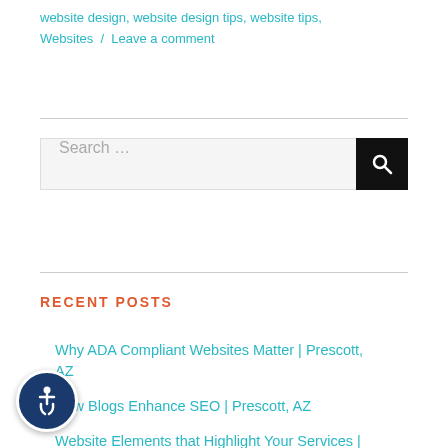website design, website design tips, website tips, Websites / Leave a comment
[Figure (screenshot): Search bar with text 'Search ...' and a dark search button with magnifying glass icon]
RECENT POSTS
Why ADA Compliant Websites Matter | Prescott, AZ
How Blogs Enhance SEO | Prescott, AZ
Website Elements that Highlight Your Services | Prescott, AZ
[Figure (logo): Accessibility icon button - blue circle with wheelchair user symbol]